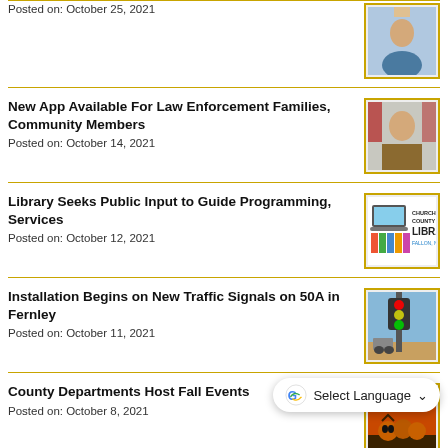Posted on: October 25, 2021
New App Available For Law Enforcement Families, Community Members
Posted on: October 14, 2021
Library Seeks Public Input to Guide Programming, Services
Posted on: October 12, 2021
Installation Begins on New Traffic Signals on 50A in Fernley
Posted on: October 11, 2021
County Departments Host Fall Events
Posted on: October 8, 2021
Members Needed For Cemetery